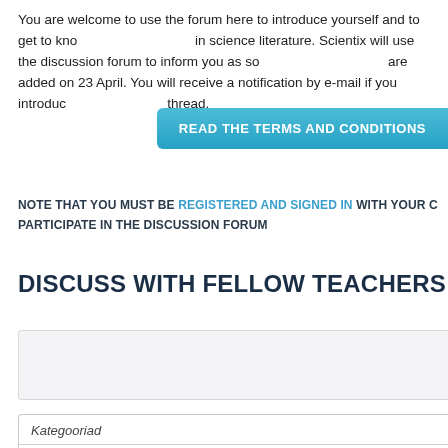You are welcome to use the forum here to introduce yourself and to get to know others interested in science literature. Scientix will use the discussion forum to inform you as soon as new resources are added on 23 April. You will receive a notification by e-mail if you introduce yourself in this thread.
READ THE TERMS AND CONDITIONS
NOTE THAT YOU MUST BE REGISTERED AND SIGNED IN WITH YOUR CREDENTIALS TO PARTICIPATE IN THE DISCUSSION FORUM
DISCUSS WITH FELLOW TEACHERS
Kategooriad